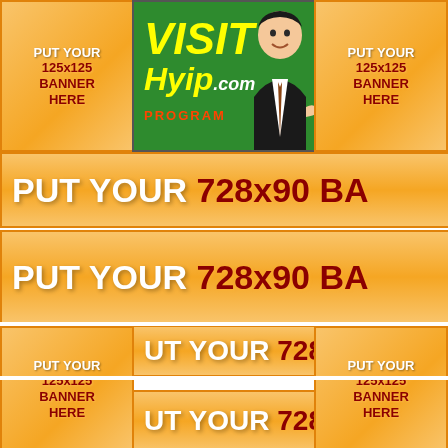[Figure (infographic): VisitHyip.com HYIP program banner with businessman illustration on green background]
[Figure (infographic): 125x125 banner placeholder - PUT YOUR 125x125 BANNER HERE (left)]
[Figure (infographic): 125x125 banner placeholder - PUT YOUR 125x125 BANNER HERE (right)]
[Figure (infographic): 728x90 banner placeholder - PUT YOUR 728x90 BA (first)]
[Figure (infographic): 728x90 banner placeholder - PUT YOUR 728x90 BA (second)]
[Figure (infographic): 728x90 banner placeholder - PUT YOUR 728 BA (third, partially visible)]
[Figure (infographic): 728x90 banner placeholder - PUT YOUR 728 BA (fourth, partially visible at bottom)]
[Figure (infographic): 125x125 banner placeholder - PUT YOUR 125x125 BANNER HERE (bottom left)]
[Figure (infographic): 125x125 banner placeholder - PUT YOUR 125x125 BANNER HERE (bottom right)]